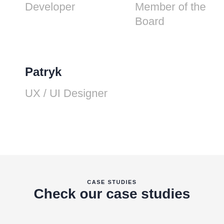Developer
Member of the Board
Patryk
UX / UI Designer
CASE STUDIES
Check our case studies